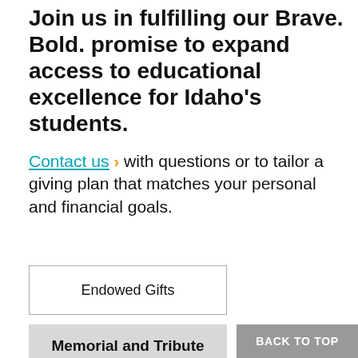Join us in fulfilling our Brave. Bold. promise to expand access to educational excellence for Idaho's students.
Contact us › with questions or to tailor a giving plan that matches your personal and financial goals.
Endowed Gifts
Memorial and Tribute Gifts
Qualified Charitable IRA Distributions
Real Estate
BACK TO TOP